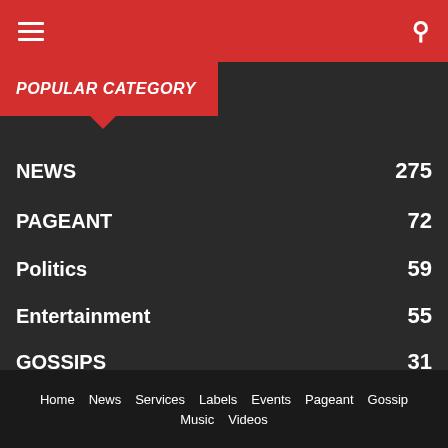Navigation header with hamburger menu and search icon
POPULAR CATEGORY
NEWS 275
PAGEANT 72
Politics 59
Entertainment 55
GOSSIPS 31
EVENTS 29
CELEBRITIES 13
GIST 13
Home  News  Services  Labels  Events  Pageant  Gossip  Music  Videos